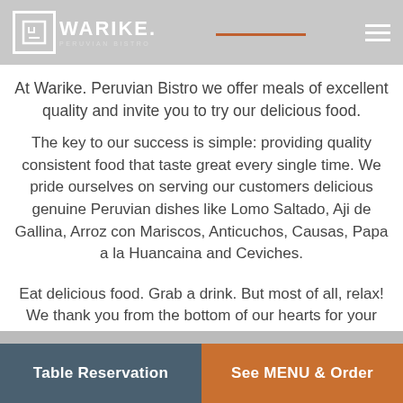WARIKE. PERUVIAN BISTRO
At Warike. Peruvian Bistro we offer meals of excellent quality and invite you to try our delicious food.
The key to our success is simple: providing quality consistent food that taste great every single time. We pride ourselves on serving our customers delicious genuine Peruvian dishes like Lomo Saltado, Aji de Gallina, Arroz con Mariscos, Anticuchos, Causas, Papa a la Huancaina and Ceviches.
Eat delicious food. Grab a drink. But most of all, relax! We thank you from the bottom of our hearts for your continued support.
Table Reservation | See MENU & Order